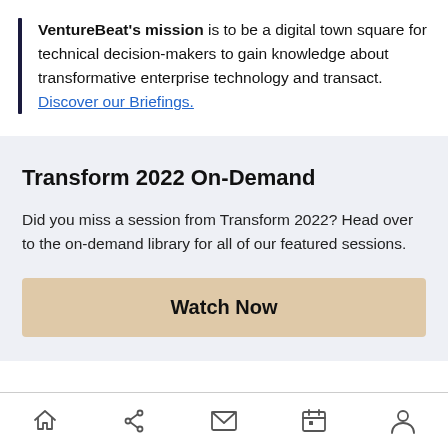VentureBeat's mission is to be a digital town square for technical decision-makers to gain knowledge about transformative enterprise technology and transact. Discover our Briefings.
Transform 2022 On-Demand
Did you miss a session from Transform 2022? Head over to the on-demand library for all of our featured sessions.
Watch Now
Home | Share | Mail | Calendar | Profile